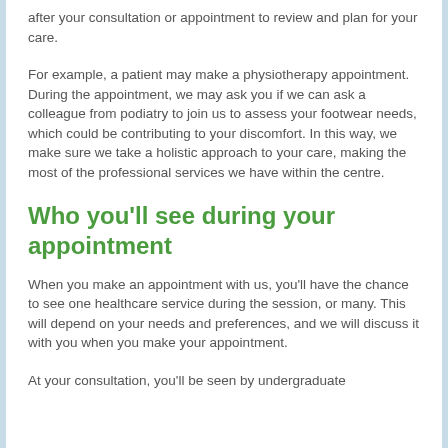after your consultation or appointment to review and plan for your care.
For example, a patient may make a physiotherapy appointment. During the appointment, we may ask you if we can ask a colleague from podiatry to join us to assess your footwear needs, which could be contributing to your discomfort. In this way, we make sure we take a holistic approach to your care, making the most of the professional services we have within the centre.
Who you'll see during your appointment
When you make an appointment with us, you'll have the chance to see one healthcare service during the session, or many. This will depend on your needs and preferences, and we will discuss it with you when you make your appointment.
At your consultation, you'll be seen by undergraduate